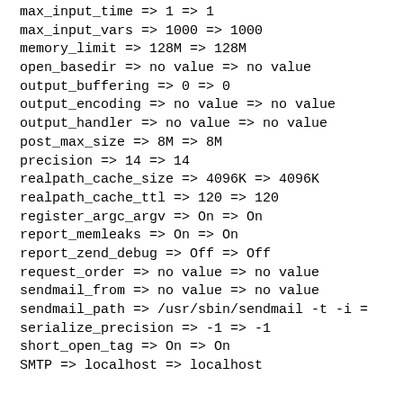max_input_time => 1 => 1
max_input_vars => 1000 => 1000
memory_limit => 128M => 128M
open_basedir => no value => no value
output_buffering => 0 => 0
output_encoding => no value => no value
output_handler => no value => no value
post_max_size => 8M => 8M
precision => 14 => 14
realpath_cache_size => 4096K => 4096K
realpath_cache_ttl => 120 => 120
register_argc_argv => On => On
report_memleaks => On => On
report_zend_debug => Off => Off
request_order => no value => no value
sendmail_from => no value => no value
sendmail_path => /usr/sbin/sendmail -t -i =
serialize_precision => -1 => -1
short_open_tag => On => On
SMTP => localhost => localhost